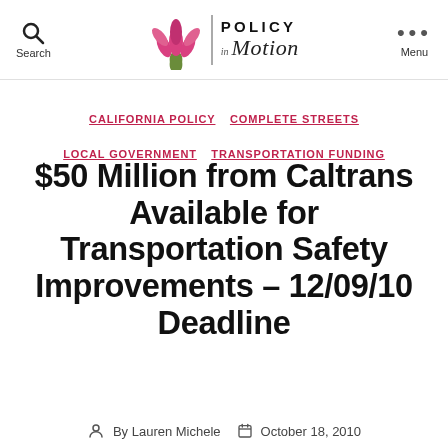Search | Policy in Motion | Menu
CALIFORNIA POLICY  COMPLETE STREETS  LOCAL GOVERNMENT  TRANSPORTATION FUNDING
$50 Million from Caltrans Available for Transportation Safety Improvements – 12/09/10 Deadline
By Lauren Michele   October 18, 2010